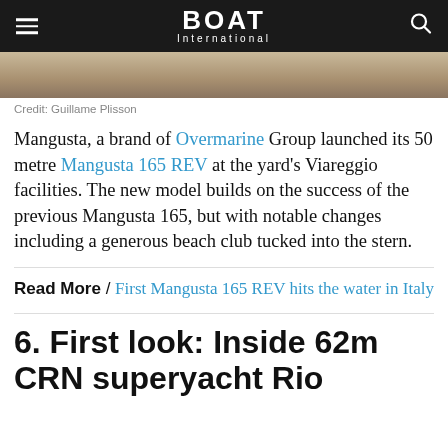BOAT International
[Figure (photo): Partial photo strip of a yacht or water surface, cropped at top of visible area]
Credit: Guillame Plisson
Mangusta, a brand of Overmarine Group launched its 50 metre Mangusta 165 REV at the yard's Viareggio facilities. The new model builds on the success of the previous Mangusta 165, but with notable changes including a generous beach club tucked into the stern.
Read More / First Mangusta 165 REV hits the water in Italy
6. First look: Inside 62m CRN superyacht Rio